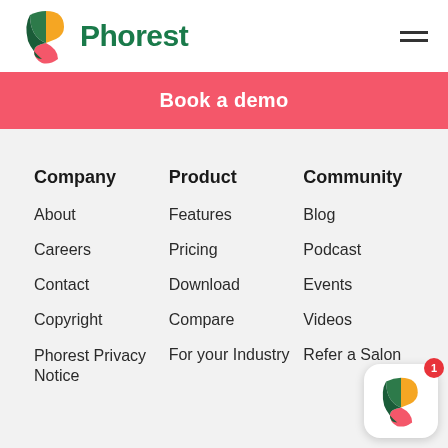[Figure (logo): Phorest logo with colorful P icon and green text 'Phorest']
Book a demo
Company
Product
Community
About
Features
Blog
Careers
Pricing
Podcast
Contact
Download
Events
Copyright
Compare
Videos
Phorest Privacy Notice
For your Industry
Refer a Salon
[Figure (logo): Phorest app icon with colorful P on white rounded square background, with red notification badge showing '1']